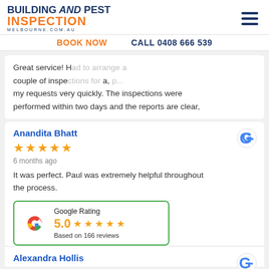[Figure (logo): Building and Pest Inspection Melbourne logo with hamburger menu icon]
BOOK NOW   CALL 0408 666 539
Great service! H... couple of inspe..., a, ... my requests very quickly. The inspections were performed within two days and the reports are clear,
Anandita Bhatt
★★★★★
6 months ago
It was perfect. Paul was extremely helpful throughout the process.
[Figure (infographic): Google Rating widget showing 5.0 stars based on 166 reviews]
Alexandra Hollis